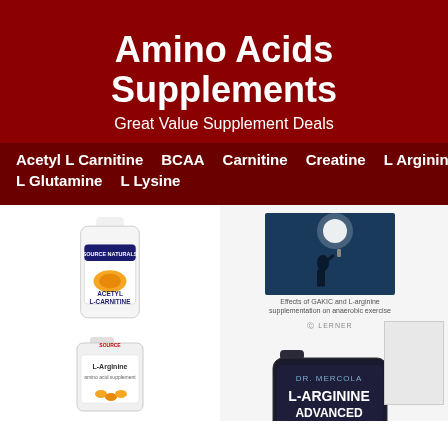Amino Acids Supplements
Great Value Supplement Deals
Acetyl L Carnitine
BCAA
Carnitine
Creatine
L Arginine
L Glutamine
L Lysine
[Figure (photo): White supplement bottle labeled Acetyl L-Carnitine by Source Naturals]
[Figure (photo): Research paper image showing silhouette drinking with text: Effects of GAKIC and L-arginine supplementation on anaerobic exercise]
[Figure (photo): Dr. Mercola L-Arginine Advanced supplement bottle in dark packaging]
[Figure (photo): L-Arginine supplement bottle (Source Naturals)]
[Figure (photo): Dark supplement container (partial, bottom of page)]
[Figure (photo): Partial image of supplement product (bottom right)]